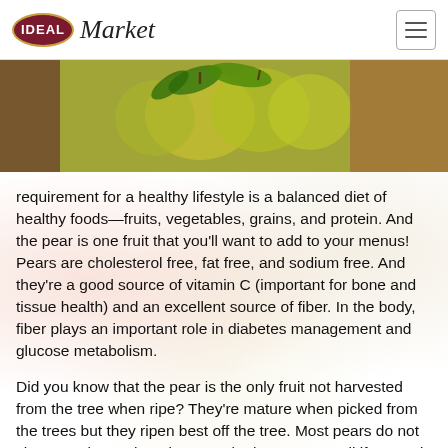IDEAL Market
[Figure (photo): Photo of green pears with leaves on a wooden surface]
requirement for a healthy lifestyle is a balanced diet of healthy foods—fruits, vegetables, grains, and protein. And the pear is one fruit that you'll want to add to your menus! Pears are cholesterol free, fat free, and sodium free. And they're a good source of vitamin C (important for bone and tissue health) and an excellent source of fiber. In the body, fiber plays an important role in diabetes management and glucose metabolism.
Did you know that the pear is the only fruit not harvested from the tree when ripe? They're mature when picked from the trees but they ripen best off the tree. Most pears do not change color as they ripen, so the best way to tell if a pear is ripe is to check the neck. Apply gentle pressure near the stem of the pear with your thumb. If it gives to gentle pressure it's ripe! The Bartlett pear is one exception—it changes from green